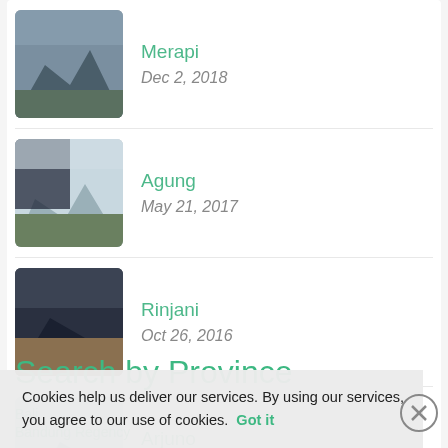Merapi
Dec 2, 2018
Agung
May 21, 2017
Rinjani
Oct 26, 2016
Arjuno
Jul 3, 2016
Search by Province
Bali
Bandung Regency
Cookies help us deliver our services. By using our services, you agree to our use of cookies. Got it